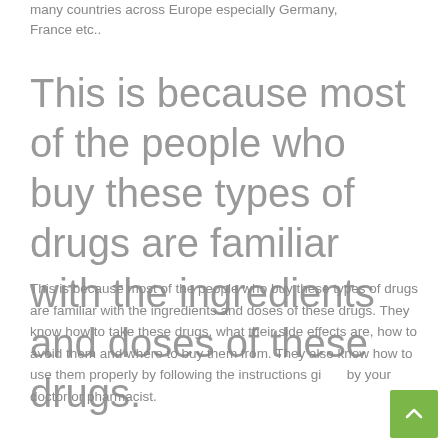many countries across Europe especially Germany, France etc..
This is because most of the people who buy these types of drugs are familiar with the ingredients and doses of these drugs.
This is because most of the people who buy these types of drugs are familiar with the ingredients and doses of these drugs. They know how to take these drugs, what their side effects are, how to avoid them and where to buy them from. They also know how to use them properly by following the instructions given by your doctor or pharmacist.